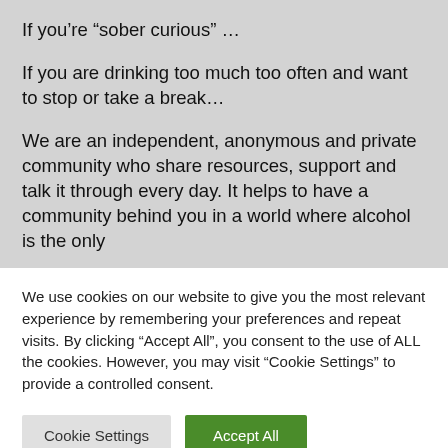If you’re “sober curious” …
If you are drinking too much too often and want to stop or take a break…
We are an independent, anonymous and private community who share resources, support and talk it through every day. It helps to have a community behind you in a world where alcohol is the only
We use cookies on our website to give you the most relevant experience by remembering your preferences and repeat visits. By clicking “Accept All”, you consent to the use of ALL the cookies. However, you may visit “Cookie Settings” to provide a controlled consent.
Cookie Settings
Accept All